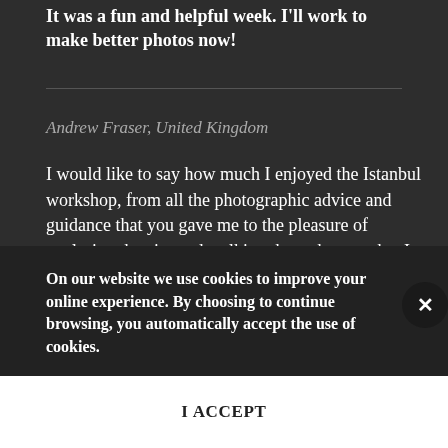It was a fun and helpful week. I'll work to make better photos now!
Andrew Fraser, United Kingdom
I would like to say how much I enjoyed the Istanbul workshop, from all the photographic advice and guidance that you gave me to the pleasure of exploring the city and walking through areas that I might not have visited on a normal 'city break' trip. The...
On our website we use cookies to improve your online experience. By choosing to continue browsing, you automatically accept the use of cookies.
I ACCEPT
orkshop I could see my technique improving and was very happy with the final edited sequence. I feel